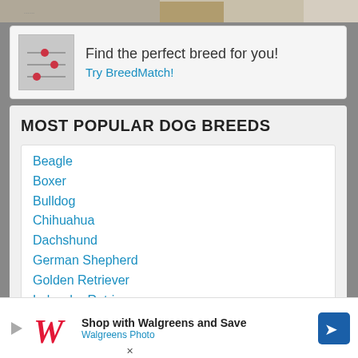[Figure (photo): Top image strip showing part of a room or furniture scene]
[Figure (infographic): BreedMatch banner with sliders icon, text 'Find the perfect breed for you!' and link 'Try BreedMatch!']
MOST POPULAR DOG BREEDS
Beagle
Boxer
Bulldog
Chihuahua
Dachshund
German Shepherd
Golden Retriever
Labrador Retriever
Maltese
Pitbull
Pomeranian
Poodle
Pug
Rottweiler
[Figure (infographic): Walgreens advertisement banner: 'Shop with Walgreens and Save' / 'Walgreens Photo']